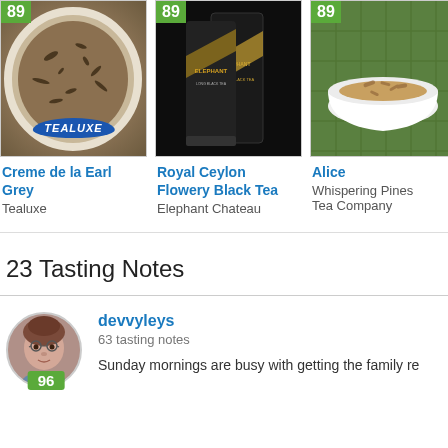[Figure (photo): Tea product card: Creme de la Earl Grey by Tealuxe, score 89. Image shows loose leaf tea in a bowl with Tealuxe logo.]
Creme de la Earl Grey
Tealuxe
[Figure (photo): Tea product card: Royal Ceylon Flowery Black Tea by Elephant Chateau, score 89. Image shows black packaging bags.]
Royal Ceylon Flowery Black Tea
Elephant Chateau
[Figure (photo): Tea product card: Alice by Whispering Pines Tea Company, score 89. Image shows tea in a white bowl on bamboo mat.]
Alice
Whispering Pines Tea Company
23 Tasting Notes
[Figure (photo): Avatar photo of reviewer devvyleys — a woman with glasses. Score badge showing 96 in green.]
devvyleys
63 tasting notes
Sunday mornings are busy with getting the family re